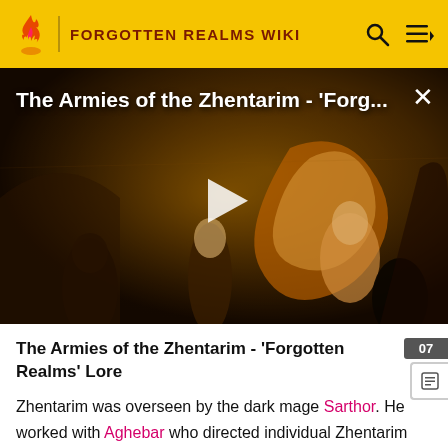FORGOTTEN REALMS WIKI
[Figure (screenshot): Video thumbnail showing dark fantasy artwork with robed figures and a dragon/demon creature in amber tones. Title overlay reads: The Armies of the Zhentarim - 'Forg...' with a play button in the center.]
The Armies of the Zhentarim - 'Forgotten Realms' Lore
Zhentarim was overseen by the dark mage Sarthor. He worked with Aghebar who directed individual Zhentarim merchants and Maglor the apothecary. They were served